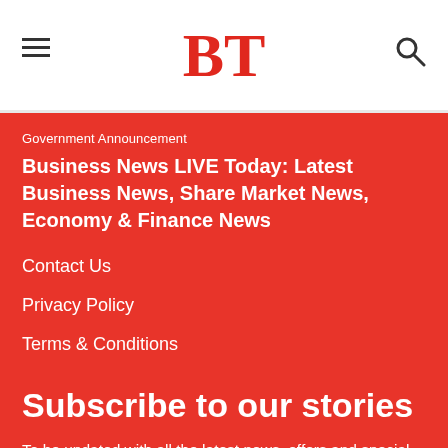BT
Government Announcement
Business News LIVE Today: Latest Business News, Share Market News, Economy & Finance News
Contact Us
Privacy Policy
Terms & Conditions
Subscribe to our stories
To be updated with all the latest news, offers and special announcements.